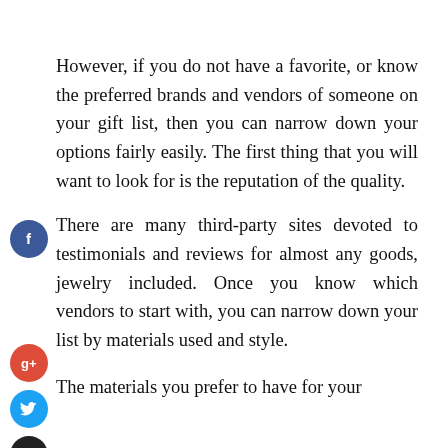However, if you do not have a favorite, or know the preferred brands and vendors of someone on your gift list, then you can narrow down your options fairly easily. The first thing that you will want to look for is the reputation of the quality.
There are many third-party sites devoted to testimonials and reviews for almost any goods, jewelry included. Once you know which vendors to start with, you can narrow down your list by materials used and style.
The materials you prefer to have for your